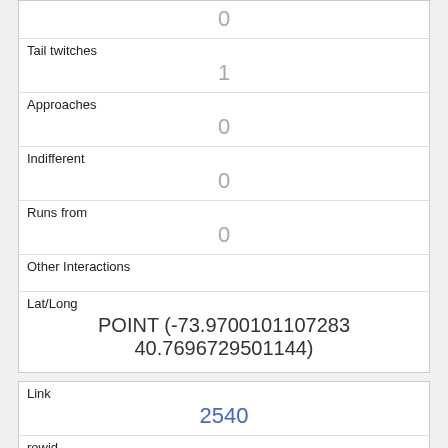| Tail twitches | 1 |
| Approaches | 0 |
| Indifferent | 0 |
| Runs from | 0 |
| Other Interactions |  |
| Lat/Long | POINT (-73.9700101107283 40.7696729501144) |
| Link | 2540 |
| rowid | 2540 |
| longitude | -73.959127912788 |
| latitude |  |